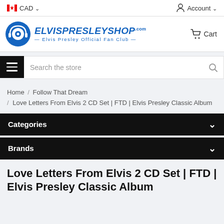CAD  Account
[Figure (logo): ElvisPresleyShop.com logo — Elvis Presley Official Fan Club, blue text with circular headphone icon]
Cart
Search the store
Home / Follow That Dream / Love Letters From Elvis 2 CD Set | FTD | Elvis Presley Classic Album
Categories
Brands
Love Letters From Elvis 2 CD Set | FTD | Elvis Presley Classic Album